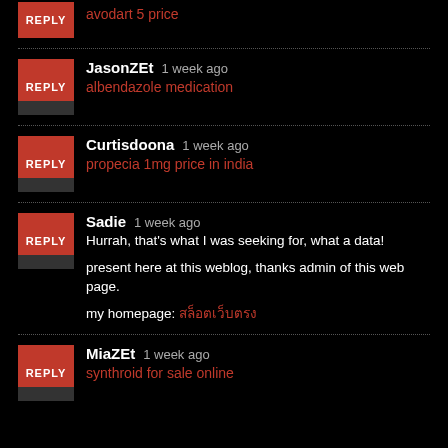avodart 5 price
JasonZEt  1 week ago
albendazole medication
Curtisdoona  1 week ago
propecia 1mg price in india
Sadie  1 week ago
Hurrah, that’s what I was seeking for, what a data!

present here at this weblog, thanks admin of this web page.

my homepage: สล็อตเว็บตรง
MiaZEt  1 week ago
synthroid for sale online